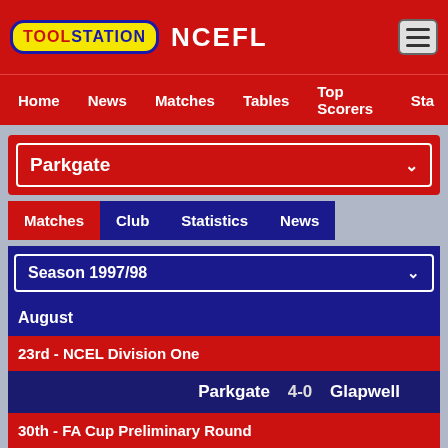TOOLSTATION NCEFL
Home
News
Matches
Tables
Top Scorers
Sta
Parkgate
Matches
Club
Statistics
News
Season 1997/98
August
23rd - NCEL Division One
| Home | Score | Away |
| --- | --- | --- |
| Parkgate | 4-0 | Glapwell |
30th - FA Cup Preliminary Round
| Home | Score | Away |
| --- | --- | --- |
| Parkgate | 2-1 | Nantwich Town |
September
9th - NCEL League Cup First Round